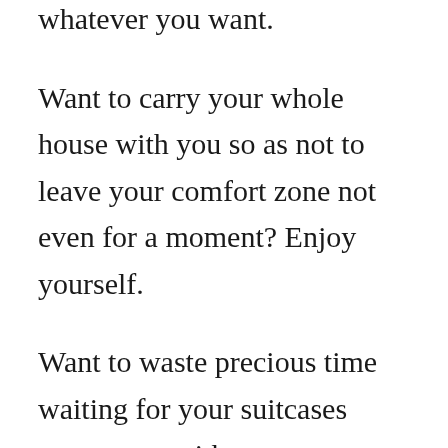whatever you want.
Want to carry your whole house with you so as not to leave your comfort zone not even for a moment? Enjoy yourself.
Want to waste precious time waiting for your suitcases +pay extra with many companies+ carry heavy suitcases around crowded airports? Great idea.
But- if you wish to learn some tricks on how